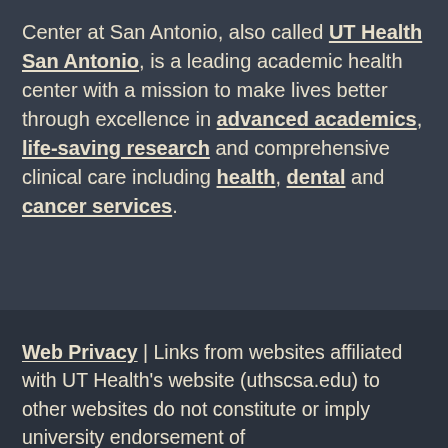Center at San Antonio, also called UT Health San Antonio, is a leading academic health center with a mission to make lives better through excellence in advanced academics, life-saving research and comprehensive clinical care including health, dental and cancer services.
Web Privacy | Links from websites affiliated with UT Health's website (uthscsa.edu) to other websites do not constitute or imply university endorsement of